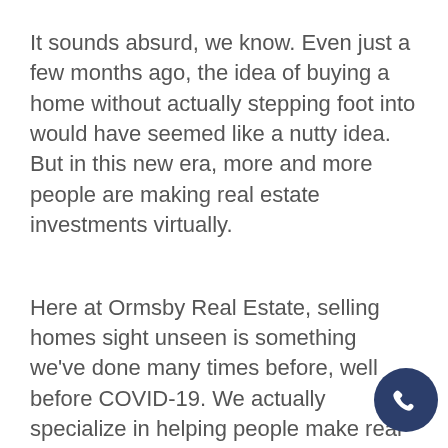It sounds absurd, we know. Even just a few months ago, the idea of buying a home without actually stepping foot into would have seemed like a nutty idea. But in this new era, more and more people are making real estate investments virtually.
Here at Ormsby Real Estate, selling homes sight unseen is something we've done many times before, well before COVID-19. We actually specialize in helping people make real estate decisions from afar. When someone wants to buy a home, but they live overseas or if someone is unable to travel to T[ucson], we've always gone the extra mile to map out th[e] purchase online and provide digital resources and